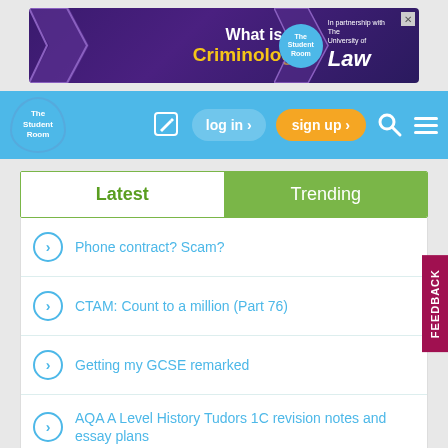[Figure (screenshot): Advertisement banner for 'What is Criminology?' by The University of Law in partnership with The Student Room]
[Figure (screenshot): The Student Room navigation bar with logo, edit icon, log in button, sign up button, search icon, and menu icon]
Latest
Trending
Phone contract? Scam?
CTAM: Count to a million (Part 76)
Getting my GCSE remarked
AQA A Level History Tudors 1C revision notes and essay plans
Mental Health Support Society XXI
Junk food make me feel sick